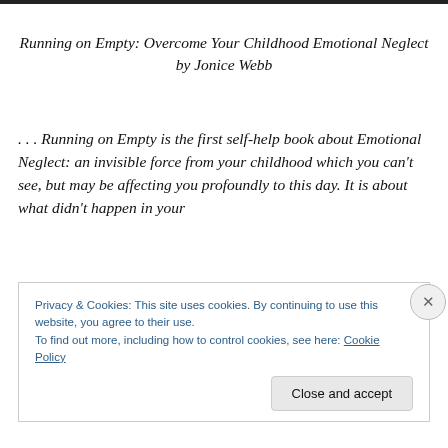Running on Empty: Overcome Your Childhood Emotional Neglect by Jonice Webb
. . . Running on Empty is the first self-help book about Emotional Neglect: an invisible force from your childhood which you can't see, but may be affecting you profoundly to this day. It is about what didn't happen in your
Privacy & Cookies: This site uses cookies. By continuing to use this website, you agree to their use.
To find out more, including how to control cookies, see here: Cookie Policy